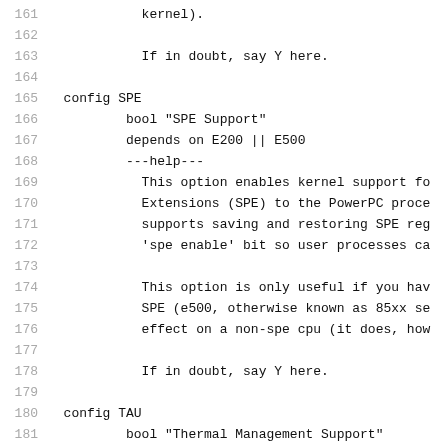161        kernel).
162
163            If in doubt, say Y here.
164
165  config SPE
166          bool "SPE Support"
167          depends on E200 || E500
168          ---help---
169            This option enables kernel support fo
170            Extensions (SPE) to the PowerPC proce
171            supports saving and restoring SPE reg
172            'spe enable' bit so user processes ca
173
174            This option is only useful if you hav
175            SPE (e500, otherwise known as 85xx se
176            effect on a non-spe cpu (it does, how
177
178            If in doubt, say Y here.
179
180  config TAU
181          bool "Thermal Management Support"